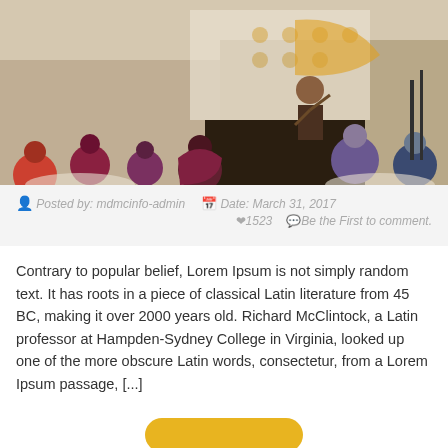[Figure (photo): Conference or event photo showing a speaker standing on a stage at the front of a room, with audience members seated at round tables in the foreground. A projection screen is visible in the background.]
Posted by: mdmcinfo-admin   Date: March 31, 2017
1523   Be the First to comment.
Contrary to popular belief, Lorem Ipsum is not simply random text. It has roots in a piece of classical Latin literature from 45 BC, making it over 2000 years old. Richard McClintock, a Latin professor at Hampden-Sydney College in Virginia, looked up one of the more obscure Latin words, consectetur, from a Lorem Ipsum passage, [...]